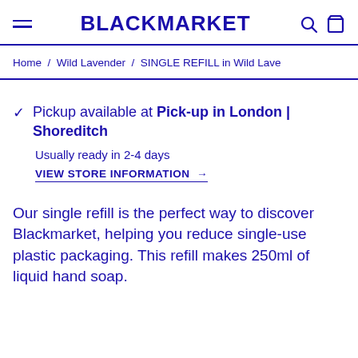BLACKMARKET
Home / Wild Lavender / SINGLE REFILL in Wild Lave
Pickup available at Pick-up in London | Shoreditch
Usually ready in 2-4 days
VIEW STORE INFORMATION →
Our single refill is the perfect way to discover Blackmarket, helping you reduce single-use plastic packaging. This refill makes 250ml of liquid hand soap.